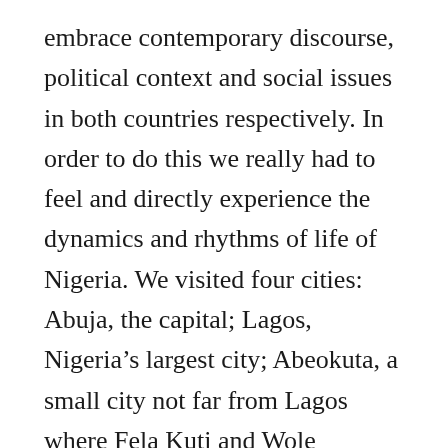embrace contemporary discourse, political context and social issues in both countries respectively. In order to do this we really had to feel and directly experience the dynamics and rhythms of life of Nigeria. We visited four cities: Abuja, the capital; Lagos, Nigeria's largest city; Abeokuta, a small city not far from Lagos where Fela Kuti and Wole Soyinka hail from; and a small village in the region of Osogbo where we were hosted by an artist who is also a chief of the village. We spent most of our time in Lagos as we were drawn to its' lively contemporary art scene. Our long list